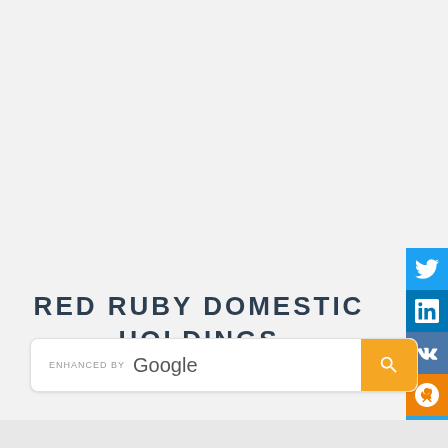[Figure (other): Social media share buttons panel on right side: Twitter (blue), LinkedIn (dark blue), VK (steel blue), Odnoklassniki (orange), Telegram (light blue), Tumblr (dark navy)]
RED RUBY DOMESTIC HOLDINGS LIMITED
ENHANCED BY Google [search box with orange search button]